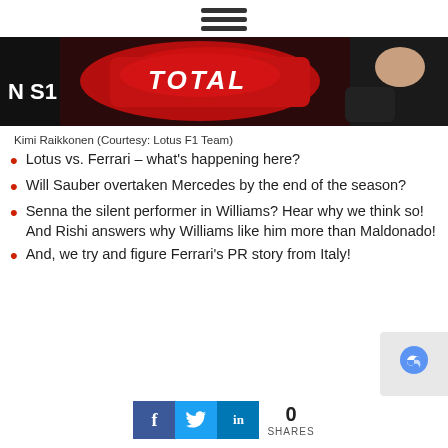[Figure (other): Hamburger menu icon with three horizontal bars]
[Figure (photo): Close-up photo of a Formula 1 car with TOTAL branding, red livery, driver visible in cockpit with steering wheel]
Kimi Raikkonen (Courtesy: Lotus F1 Team)
Lotus vs. Ferrari – what's happening here?
Will Sauber overtaken Mercedes by the end of the season?
Senna the silent performer in Williams? Hear why we think so! And Rishi answers why Williams like him more than Maldonado!
And, we try and figure Ferrari's PR story from Italy!
[Figure (other): Social share buttons: Facebook, Twitter, LinkedIn with 0 SHARES count. reCAPTCHA badge and scroll-to-top button visible.]